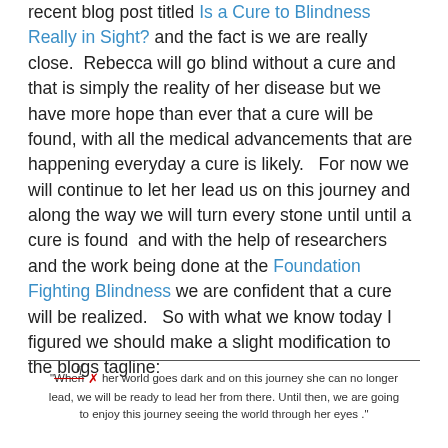recent blog post titled Is a Cure to Blindness Really in Sight? and the fact is we are really close.  Rebecca will go blind without a cure and that is simply the reality of her disease but we have more hope than ever that a cure will be found, with all the medical advancements that are happening everyday a cure is likely.   For now we will continue to let her lead us on this journey and along the way we will turn every stone until until a cure is found  and with the help of researchers and the work being done at the Foundation Fighting Blindness we are confident that a cure will be realized.   So with what we know today I figured we should make a slight modification to the blogs tagline:
"When [if] her world goes dark and on this journey she can no longer lead, we will be ready to lead her from there. Until then, we are going to enjoy this journey seeing the world through her eyes ."